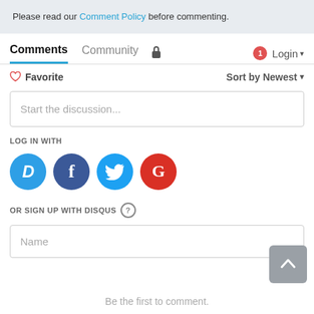Please read our Comment Policy before commenting.
Comments   Community   🔒   1  Login ▾
♡ Favorite    Sort by Newest ▾
Start the discussion...
LOG IN WITH
[Figure (logo): Social login icons: Disqus (D), Facebook (f), Twitter bird, Google (G)]
OR SIGN UP WITH DISQUS ?
Name
Be the first to comment.